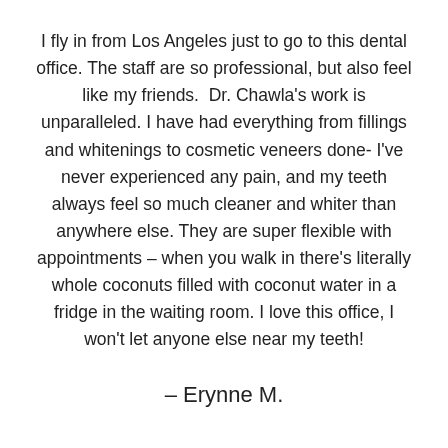I fly in from Los Angeles just to go to this dental office. The staff are so professional, but also feel like my friends.  Dr. Chawla's work is unparalleled. I have had everything from fillings and whitenings to cosmetic veneers done- I've never experienced any pain, and my teeth always feel so much cleaner and whiter than anywhere else. They are super flexible with appointments – when you walk in there's literally whole coconuts filled with coconut water in a fridge in the waiting room. I love this office, I won't let anyone else near my teeth!
– Erynne M.